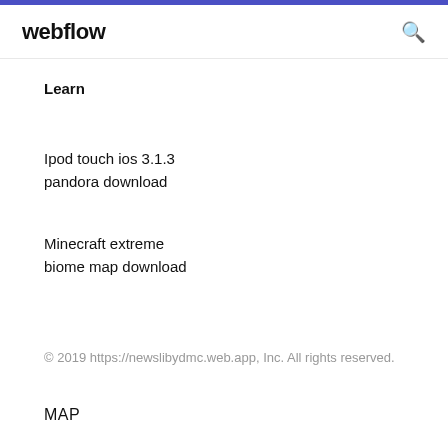webflow
Learn
Ipod touch ios 3.1.3
pandora download
Minecraft extreme biome map download
© 2019 https://newslibydmc.web.app, Inc. All rights reserved.
MAP